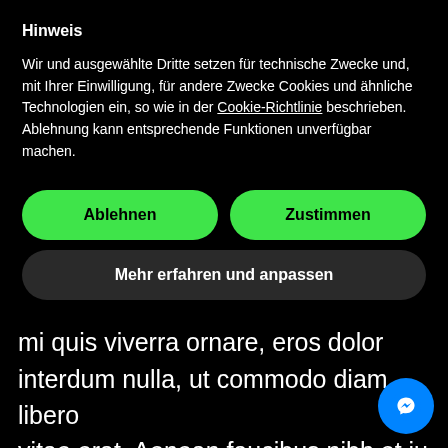Hinweis
Wir und ausgewählte Dritte setzen für technische Zwecke und, mit Ihrer Einwilligung, für andere Zwecke Cookies und ähnliche Technologien ein, so wie in der Cookie-Richtlinie beschrieben. Ablehnung kann entsprechende Funktionen unverfügbar machen.
Ablehnen
Zustimmen
Mehr erfahren und anpassen
mi quis viverra ornare, eros dolor interdum nulla, ut commodo diam libero vitae erat. Aenean faucibus nibh et ju cursus id rutrum lorem imperdiet. Nu ut sem vitae risus tristique posuere.
[Figure (logo): Facebook Messenger circular blue icon button]